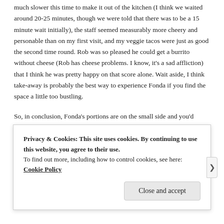much slower this time to make it out of the kitchen (I think we waited around 20-25 minutes, though we were told that there was to be a 15 minute wait initially), the staff seemed measurably more cheery and personable than on my first visit, and my veggie tacos were just as good the second time round. Rob was so pleased he could get a burrito without cheese (Rob has cheese problems. I know, it's a sad affliction) that I think he was pretty happy on that score alone. Wait aside, I think take-away is probably the best way to experience Fonda if you find the space a little too bustling.
So, in conclusion, Fonda's portions are on the small side and you'd probably be quite right to question the price of things, and it's too fr...
Privacy & Cookies: This site uses cookies. By continuing to use this website, you agree to their use.
To find out more, including how to control cookies, see here: Cookie Policy